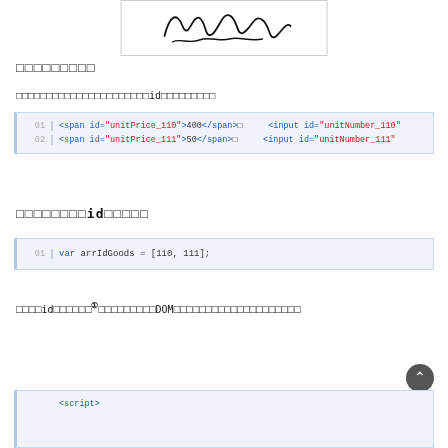[Figure (illustration): A handwritten signature inside a bordered box]
□□□□□□□□□
□□□□□□□□□□□□□□□□□□□□□□idを□□□□□□□□□
[Figure (screenshot): Code block showing HTML with span id='unitPrice_110' >400</span> and input id='unitNumber_110' on line 01, span id='unitPrice_111' >50</span> and input id='unitNumber_111' on line 02]
□□□□□□□□idを□□□□
[Figure (screenshot): Code block line 01: var arrIdGoods = [110, 111];]
□□□□idを□□□□①□□□□□□□□□DOM□□□□□□□□□□□□□□□□□□□□